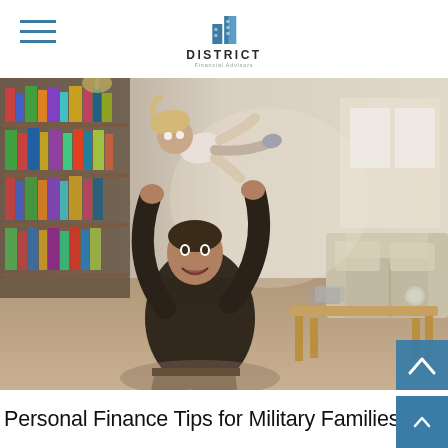District Financial Advisors — navigation header with logo
[Figure (photo): A man in military camouflage pants and dark t-shirt sitting on a living room floor, joyfully lifting a small child overhead with both arms. Bookshelves visible in background on left, sofa and coffee table on right. Warm indoor lighting.]
Personal Finance Tips for Military Families